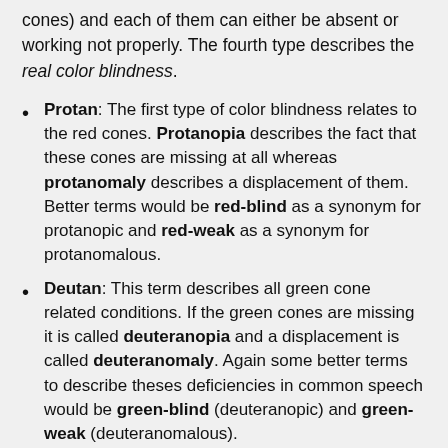cones) and each of them can either be absent or working not properly. The fourth type describes the real color blindness.
Protan: The first type of color blindness relates to the red cones. Protanopia describes the fact that these cones are missing at all whereas protanomaly describes a displacement of them. Better terms would be red-blind as a synonym for protanopic and red-weak as a synonym for protanomalous.
Deutan: This term describes all green cone related conditions. If the green cones are missing it is called deuteranopia and a displacement is called deuteranomaly. Again some better terms to describe theses deficiencies in common speech would be green-blind (deuteranopic) and green-weak (deuteranomalous).
Tritan: Blue cone deficiencies are either called